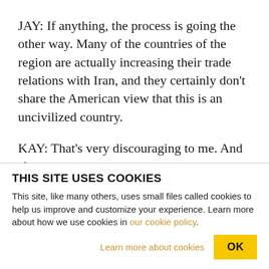JAY: If anything, the process is going the other way. Many of the countries of the region are actually increasing their trade relations with Iran, and they certainly don't share the American view that this is an uncivilized country.
KAY: That's very discouraging to me. And if anything that maximizes the possibility of military force, because the Bush administration sees that there's no hope of getting a multilateral consensus around the
THIS SITE USES COOKIES
This site, like many others, uses small files called cookies to help us improve and customize your experience. Learn more about how we use cookies in our cookie policy.
Learn more about cookies